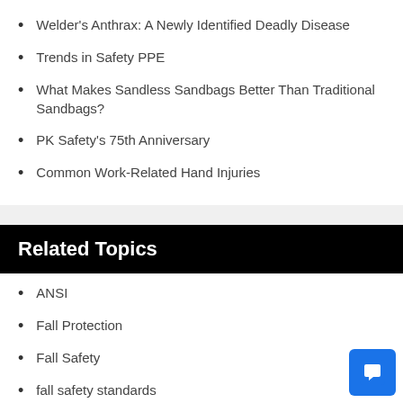Welder's Anthrax: A Newly Identified Deadly Disease
Trends in Safety PPE
What Makes Sandless Sandbags Better Than Traditional Sandbags?
PK Safety's 75th Anniversary
Common Work-Related Hand Injuries
Related Topics
ANSI
Fall Protection
Fall Safety
fall safety standards
OSHA
PPE